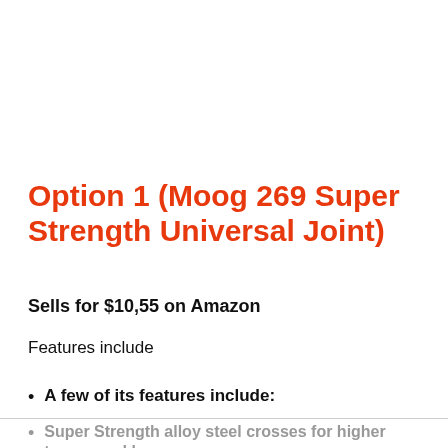Option 1 (Moog 269 Super Strength Universal Joint)
Sells for $10,55 on Amazon
Features include
A few of its features include:
Super Strength alloy steel crosses for higher torque and horsepower